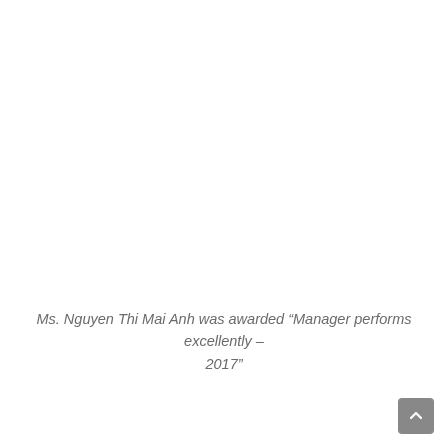Ms. Nguyen Thi Mai Anh was awarded “Manager performs excellently – 2017”